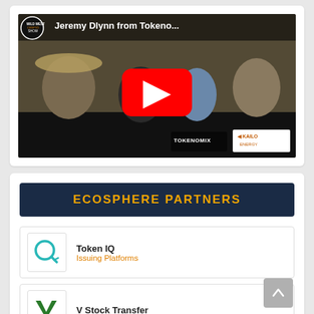[Figure (screenshot): YouTube video thumbnail showing 'Jeremy Dlynn from Tokeno...' with Wild West Crypto Show logo, four people sitting at a panel table, red YouTube play button in center, Tokenomix and Kailo Energy logos at bottom right]
ECOSPHERE PARTNERS
[Figure (logo): Token IQ logo - teal/cyan Q icon with arrow]
Token IQ
Issuing Platforms
[Figure (logo): V Stock Transfer logo - green V shape]
V Stock Transfer